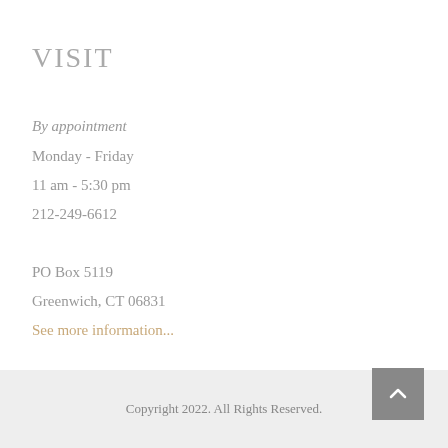VISIT
By appointment
Monday - Friday
11 am - 5:30 pm
212-249-6612
PO Box 5119
Greenwich, CT 06831
See more information...
Copyright 2022. All Rights Reserved.